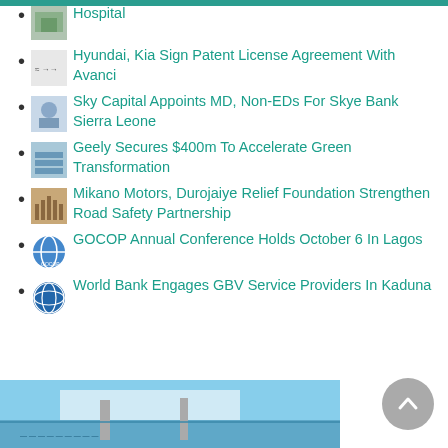Hospital
Hyundai, Kia Sign Patent License Agreement With Avanci
Sky Capital Appoints MD, Non-EDs For Skye Bank Sierra Leone
Geely Secures $400m To Accelerate Green Transformation
Mikano Motors, Durojaiye Relief Foundation Strengthen Road Safety Partnership
GOCOP Annual Conference Holds October 6 In Lagos
World Bank Engages GBV Service Providers In Kaduna
[Figure (photo): Partial photo visible at the bottom of the page, appears to be an outdoor/nautical scene with sky and water]